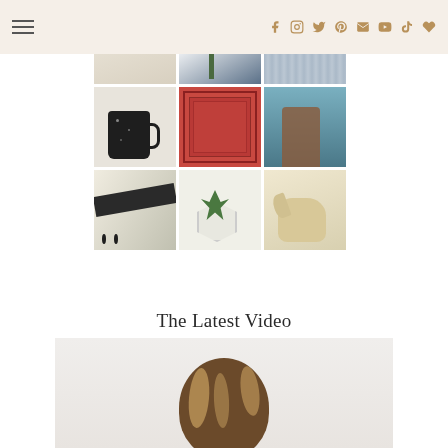Navigation and social icons header
[Figure (photo): 3x3 grid of Instagram-style product photos: row 1 (partial): white ceramic object, plant with blue background, knit textile; row 2: black speckled mug, red Persian rug, woman with flowers; row 3: black and white tasseled blanket, succulent in geometric white planter, cream elephant figurine]
The Latest Video
[Figure (photo): Video thumbnail showing back of woman's head with highlighted brunette hair, light gray background]